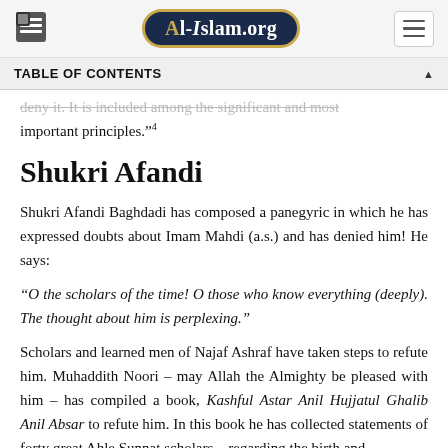Al-Islam.org
TABLE OF CONTENTS
...deny it. It is included among the significant and most important principles."4
Shukri Afandi
Shukri Afandi Baghdadi has composed a panegyric in which he has expressed doubts about Imam Mahdi (a.s.) and has denied him! He says:
“O the scholars of the time! O those who know everything (deeply). The thought about him is perplexing.”
Scholars and learned men of Najaf Ashraf have taken steps to refute him. Muhaddith Noori – may Allah the Almighty be pleased with him – has compiled a book, Kashful Astar Anil Hujjatul Ghalib Anil Absar to refute him. In this book he has collected statements of forty great Ahle Sunnat scholars – regarding the birth and